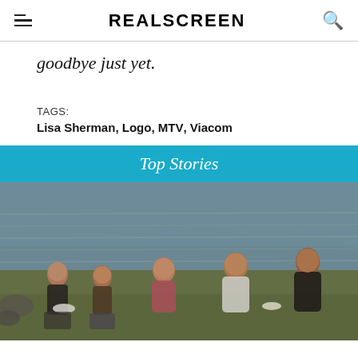REALSCREEN
goodbye just yet.
TAGS:
Lisa Sherman, Logo, MTV, Viacom
Top Stories
[Figure (photo): Five young people sitting outdoors by a lake or river, eating and laughing together. Vintage style photograph.]